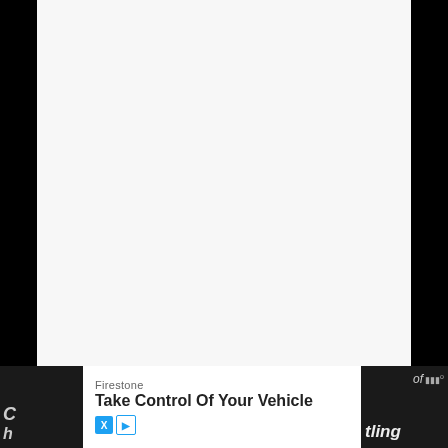[Figure (other): Mostly blank/white page area with dark background borders on left and right sides]
[Figure (other): Advertisement banner at bottom: Firestone 'Take Control Of Your Vehicle' with DOWNLOAD button, partial text on dark background on left and right sides]